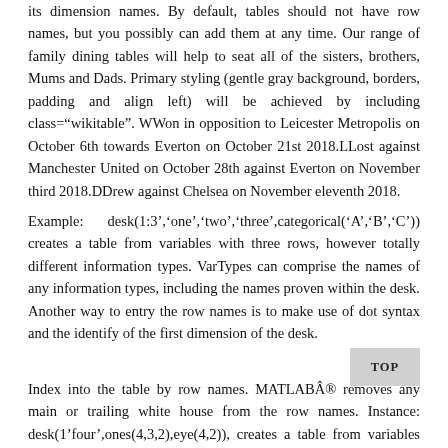its dimension names. By default, tables should not have row names, but you possibly can add them at any time. Our range of family dining tables will help to seat all of the sisters, brothers, Mums and Dads. Primary styling (gentle gray background, borders, padding and align left) will be achieved by including class="wikitable". WWon in opposition to Leicester Metropolis on October 6th towards Everton on October 21st 2018.LLost against Manchester United on October 28th against Everton on November third 2018.DDrew against Chelsea on November eleventh 2018.
Example: desk(1:3','one','two','three',categorical('A','B','C')) creates a table from variables with three rows, however totally different information types. VarTypes can comprise the names of any information types, including the names proven within the desk. Another way to entry the row names is to make use of dot syntax and the identify of the first dimension of the desk.
Index into the table by row names. MATLAB® removes any main or trailing white house from the row names. Instance: desk(1,'four',ones(4,3,2),eye(4,2)), creates a table from variables with